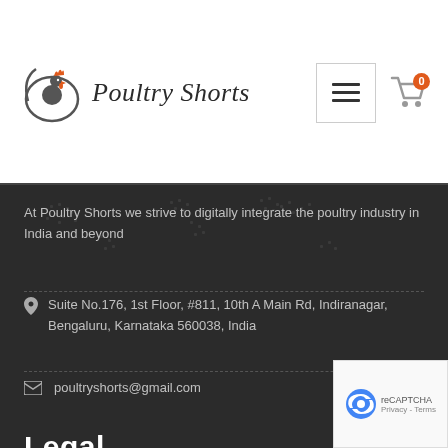[Figure (logo): Poultry Shorts logo with rooster in orange circle outline and italic text 'Poultry Shorts']
At Poultry Shorts we strive to digitally integrate the poultry industry in India and beyond
Suite No.176, 1st Floor, #811, 10th A Main Rd, Indiranagar, Bengaluru, Karnataka 560038, India
poultryshorts@gmail.com
Legal
T&C
Privacy policy